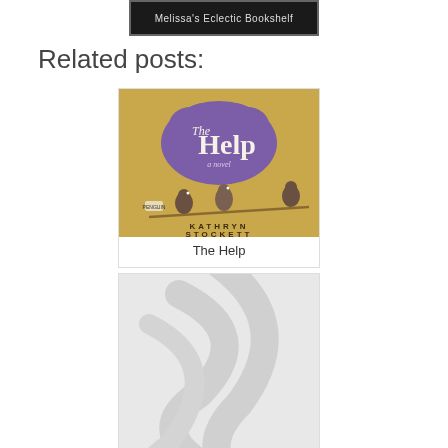[Figure (screenshot): Melissa's Eclectic Bookshelf header/logo image — dark banner with the text 'Melissa's Eclectic Bookshelf']
Related posts:
[Figure (photo): Book cover of 'The Help' by Kathryn Stockett — yellow background with three small birds perched on a branch, purple decorative shape with title text]
The Help
[Figure (photo): Partially visible book cover or placeholder image — light gray with abstract curved shapes]